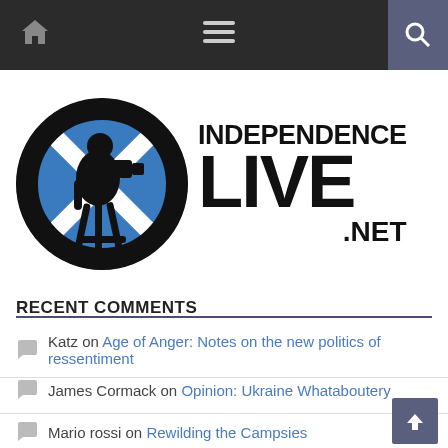Independence Live .NET navigation bar
[Figure (logo): Independence Live .NET logo — silhouette of a cameraman on tripod inside a circle with Scottish saltire flag in blue and white, beside bold text INDEPENDENCE LIVE .NET]
RECENT COMMENTS
Katz on Age of Anger: Notes on the new politics of ressentiment
James Cormack on Opinion: Ukraine Whataboutery
Mario rossi on Rewilding the Campsies